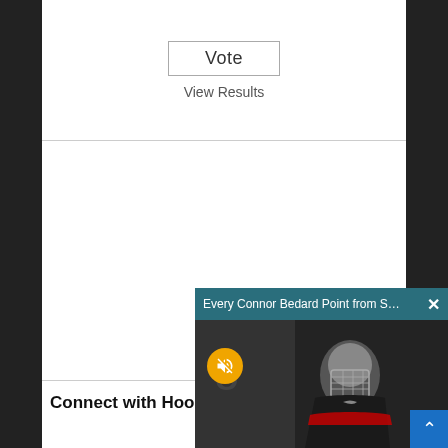Vote
View Results
Connect with Hoo...
[Figure (screenshot): Floating video player popup showing 'Every Connor Bedard Point from Summ...' with a teal/dark title bar and a close X button. Below is a video frame showing a hockey player in a Canadian jersey and helmet, with a GOAL scoreboard overlay, a yellow mute button, and a blue scroll-up button in the corner.]